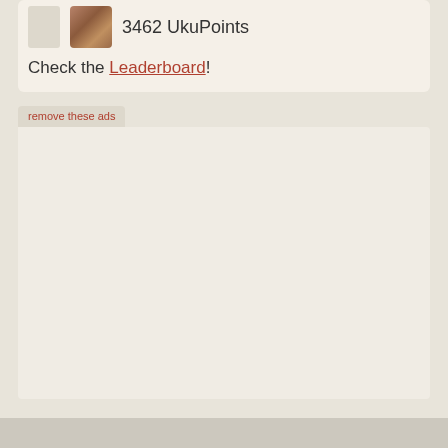3462 UkuPoints
Check the Leaderboard!
remove these ads